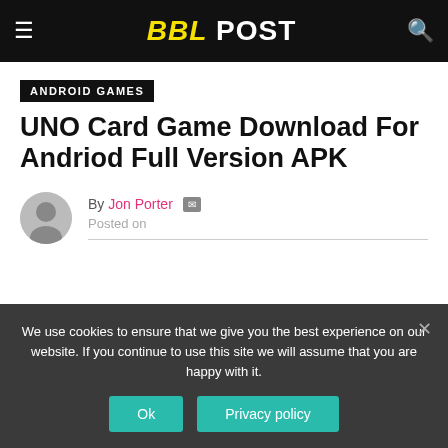BBL POST
ANDROID GAMES
UNO Card Game Download For Andriod Full Version APK
By Jon Porter  Posted on
We use cookies to ensure that we give you the best experience on our website. If you continue to use this site we will assume that you are happy with it.